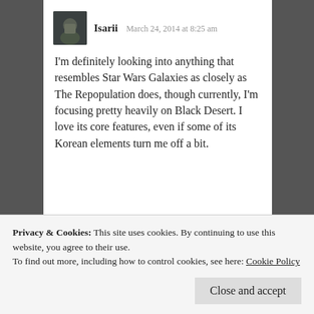Isarii  March 24, 2014 at 8:25 am
I'm definitely looking into anything that resembles Star Wars Galaxies as closely as The Repopulation does, though currently, I'm focusing pretty heavily on Black Desert. I love its core features, even if some of its Korean elements turn me off a bit.
★ Like
Log in to Reply
subscriptions online
Privacy & Cookies: This site uses cookies. By continuing to use this website, you agree to their use.
To find out more, including how to control cookies, see here: Cookie Policy
Close and accept